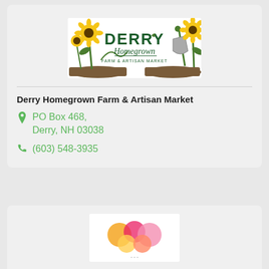[Figure (logo): Derry Homegrown Farm & Artisan Market logo with sunflowers and garden tools]
Derry Homegrown Farm & Artisan Market
PO Box 468, Derry, NH 03038
(603) 548-3935
[Figure (logo): Partial logo at bottom of page (second business listing)]